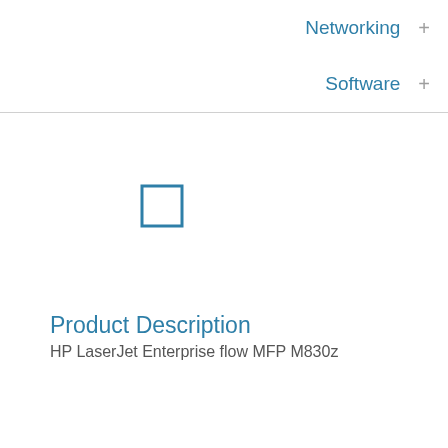Networking +
Software +
[Figure (other): Blue outlined empty checkbox square]
Product Description
HP LaserJet Enterprise flow MFP M830z